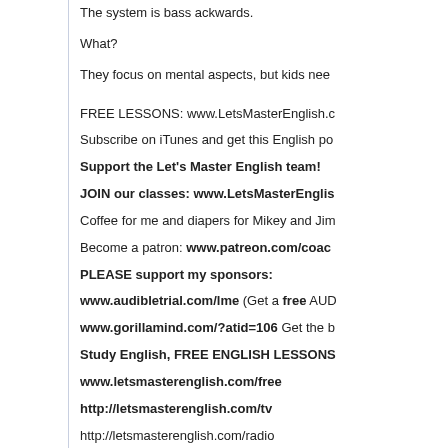The system is bass ackwards.
What?
They focus on mental aspects, but kids nee
FREE LESSONS: www.LetsMasterEnglish.c
Subscribe on iTunes and get this English po
Support the Let's Master English team!
JOIN our classes: www.LetsMasterEnglis
Coffee for me and diapers for Mikey and Jim
Become a patron: www.patreon.com/coac
PLEASE support my sponsors:
www.audibletrial.com/lme (Get a free AUD
www.gorillamind.com/?atid=106 Get the b
Study English, FREE ENGLISH LESSONS
www.letsmasterenglish.com/free
http://letsmasterenglish.com/tv
http://letsmasterenglish.com/radio
Direct download: 993_E3_POD_bassackwards.mp3
Category: -- posted at: 10:09pm CDT
Tue, 19 January 2021